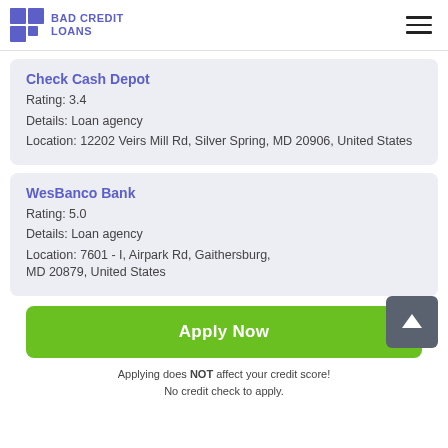BAD CREDIT LOANS
Check Cash Depot
Rating: 3.4
Details: Loan agency
Location: 12202 Veirs Mill Rd, Silver Spring, MD 20906, United States
WesBanco Bank
Rating: 5.0
Details: Loan agency
Location: 7601 - I, Airpark Rd, Gaithersburg, MD 20879, United States
Apply Now
Applying does NOT affect your credit score! No credit check to apply.